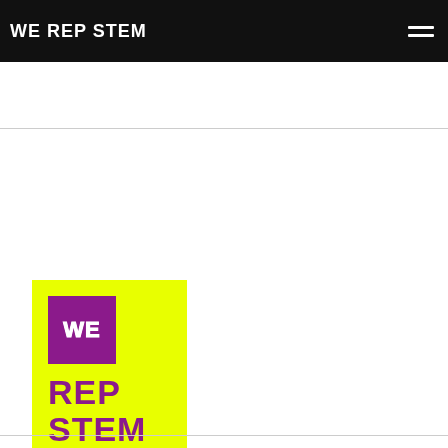WE REP STEM
[Figure (logo): We Rep STEM poster with bright yellow background, purple 'WE' logo square, bold purple text 'REP STEM', and a detailed illustration of a brain]